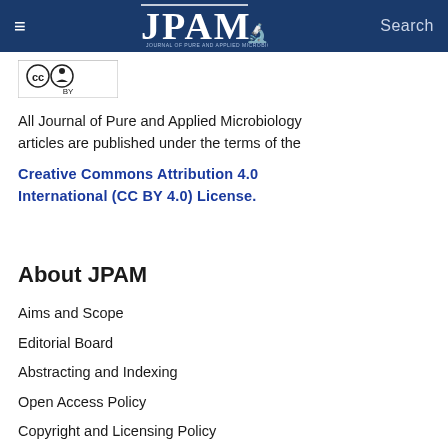≡  JPAM  Search
[Figure (logo): Creative Commons CC BY license badge]
All Journal of Pure and Applied Microbiology articles are published under the terms of the Creative Commons Attribution 4.0 International (CC BY 4.0) License.
About JPAM
Aims and Scope
Editorial Board
Abstracting and Indexing
Open Access Policy
Copyright and Licensing Policy
Contact Us